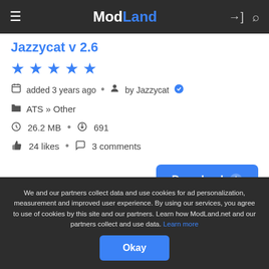ModLand
Jazzycat v 2.6
[Figure (infographic): 5 blue star rating icons]
added 3 years ago • by Jazzycat ✓
ATS » Other
26.2 MB • 691
24 likes • 3 comments
Download
We and our partners collect data and use cookies for ad personalization, measurement and improved user experience. By using our services, you agree to use of cookies by this site and our partners. Learn how ModLand.net and our partners collect and use data. Learn more
Okay